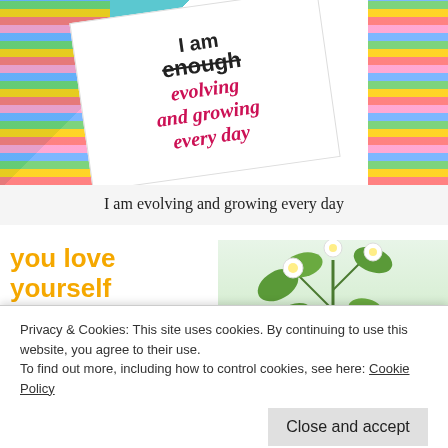[Figure (photo): Colorful striped stationery cards with handwritten-style text reading 'I am enough evolving and growing every day' on a white card surrounded by rainbow striped paper, on a teal/turquoise background]
I am evolving and growing every day
[Figure (photo): Graphic image showing bold orange text 'you love yourself every day.' on the left side, and a green strawberry plant with white flowers on the right side]
Privacy & Cookies: This site uses cookies. By continuing to use this website, you agree to their use.
To find out more, including how to control cookies, see here: Cookie Policy
Close and accept
How about loving our planet (and each other)